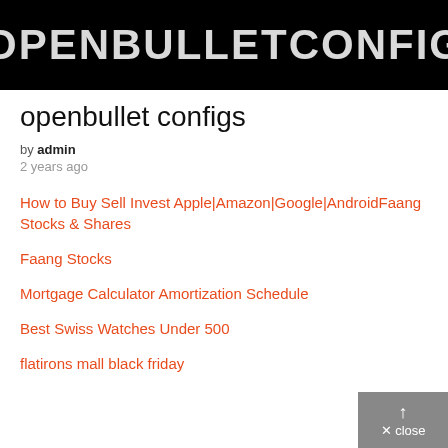[Figure (screenshot): Black banner image with white bold uppercase text reading 'OPENBULLETCONFIGT']
openbullet configs
by admin
2 years ago
How to Buy Sell Invest Apple|Amazon|Google|AndroidFaang Stocks & Shares
Faang Stocks
Mortgage Calculator Amortization Schedule
Best Swiss Watches Under 500
flatirons mall black friday